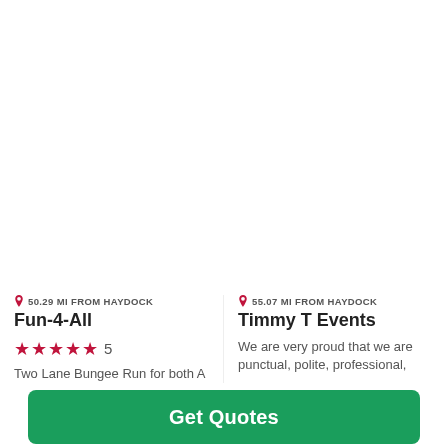50.29 MI FROM HAYDOCK
Fun-4-All
★★★★★ 5
Two Lane Bungee Run for both A...
55.07 MI FROM HAYDOCK
Timmy T Events
We are very proud that we are punctual, polite, professional,...s.
Get Quotes
Takes 2-3 minutes